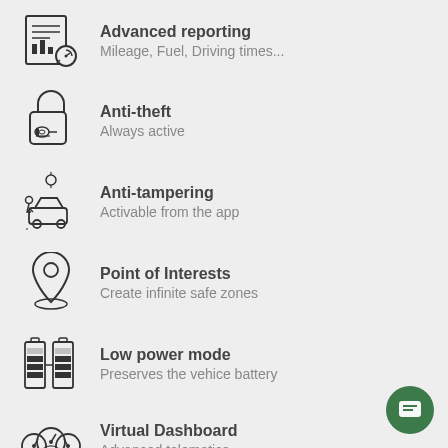Advanced reporting — Mileage, Fuel, Driving times...
Anti-theft — Always active
Anti-tampering — Activable from the app
Point of Interests — Create infinite safe zones
Low power mode — Preserves the vehice battery
Virtual Dashboard — Advanced telematics